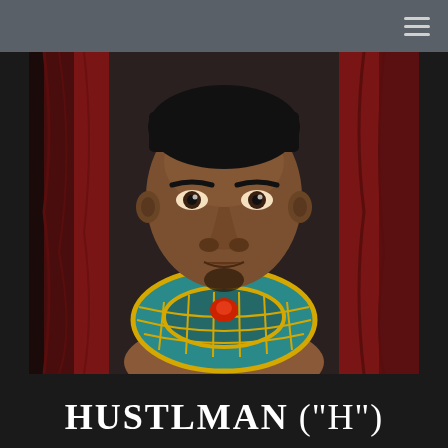[Figure (illustration): 3D animated character resembling an ancient Egyptian figure. The character is a dark-skinned man with short black hair, a goatee, and a serious expression. He wears a teal and gold Egyptian collar/necklace with a red gemstone at the center. Red curtains are visible in the background.]
HUSTLMAN ("H")